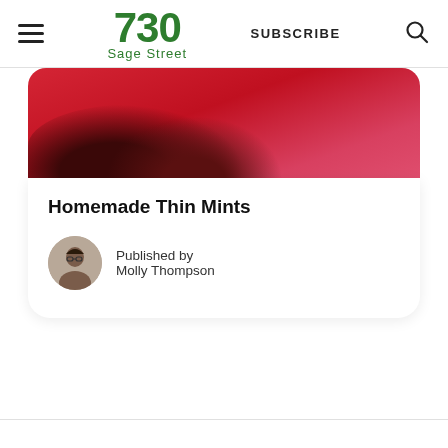730 Sage Street | SUBSCRIBE
[Figure (photo): Close-up photo of chocolate thin mint cookies on a red background, partially cropped]
Homemade Thin Mints
Published by
Molly Thompson